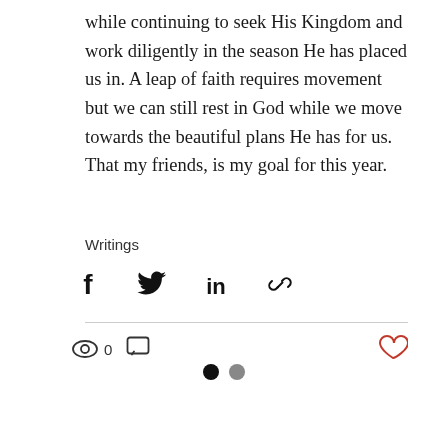while continuing to seek His Kingdom and work diligently in the season He has placed us in. A leap of faith requires movement but we can still rest in God while we move towards the beautiful plans He has for us. That my friends, is my goal for this year.
Writings
[Figure (other): Social share icons: Facebook, Twitter, LinkedIn, Link]
[Figure (other): Engagement bar: eye icon with 0 views, comment icon, heart/like icon]
[Figure (other): Pagination dots: one filled black, one filled gray]